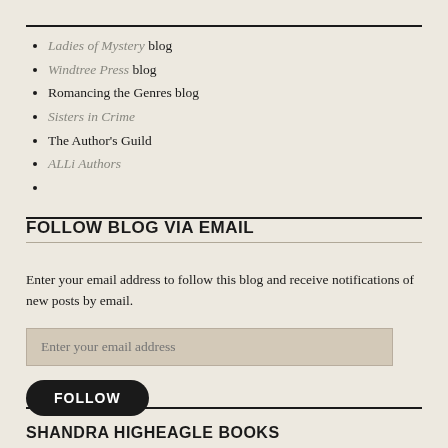Ladies of Mystery blog
Windtree Press blog
Romancing the Genres blog
Sisters in Crime
The Author's Guild
ALLi Authors
FOLLOW BLOG VIA EMAIL
Enter your email address to follow this blog and receive notifications of new posts by email.
Enter your email address
FOLLOW
SHANDRA HIGHEAGLE BOOKS